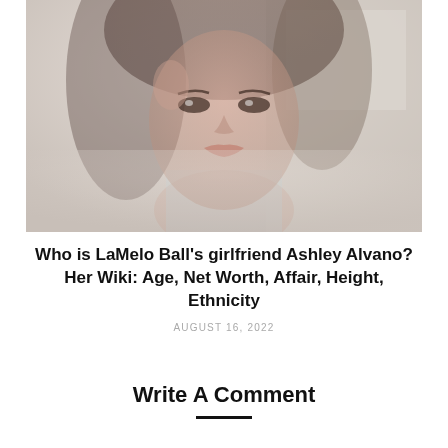[Figure (photo): Close-up photo of a young woman with dark hair, light skin, and dramatic eye makeup, looking toward the camera. The image has a soft, faded/washed-out quality with light background.]
Who is LaMelo Ball's girlfriend Ashley Alvano? Her Wiki: Age, Net Worth, Affair, Height, Ethnicity
AUGUST 16, 2022
Write A Comment